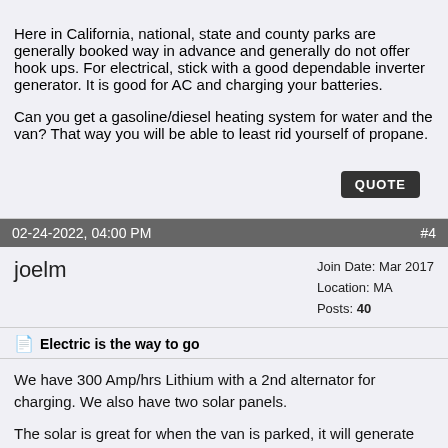Here in California, national, state and county parks are generally booked way in advance and generally do not offer hook ups. For electrical, stick with a good dependable inverter generator. It is good for AC and charging your batteries.
Can you get a gasoline/diesel heating system for water and the van? That way you will be able to least rid yourself of propane.
02-24-2022, 04:00 PM   #4
joelm
Join Date: Mar 2017
Location: MA
Posts: 40
Electric is the way to go
We have 300 Amp/hrs Lithium with a 2nd alternator for charging. We also have two solar panels.
The solar is great for when the van is parked, it will generate plenty to keep the fridge running and add some power back to the batteries. It is not sufficient to fully charge the batteries to balance the use of the induction stove etc.